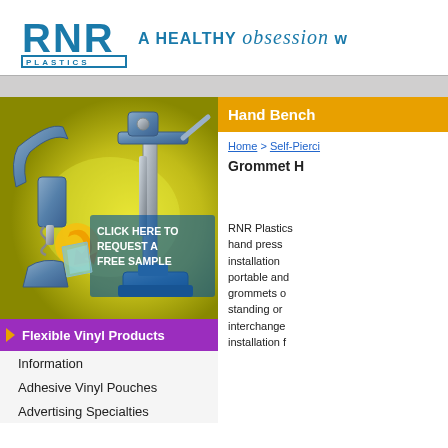[Figure (logo): RNR Plastics logo with block letters RNR and PLASTICS text in a bordered box]
A HEALTHY obsession w
[Figure (photo): Blue grommet hand press tools on yellow-green background with CLICK HERE TO REQUEST A FREE SAMPLE text overlay and arrow icon]
Flexible Vinyl Products
Information
Adhesive Vinyl Pouches
Advertising Specialties
Hand Bench
Home > Self-Pierci
Grommet H
RNR Plastics hand press installation portable and grommets o standing or interchange installation f